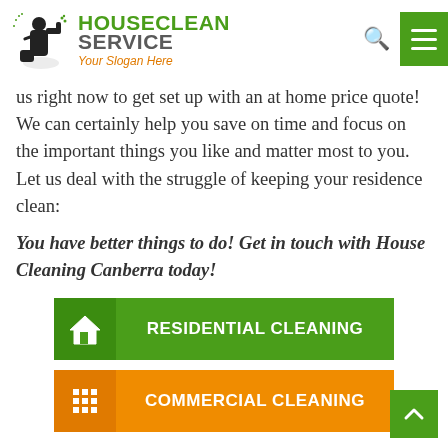[Figure (logo): HouseClean Service logo with cleaning spray gun icon, green and grey text, orange slogan 'Your Slogan Here']
us right now to get set up with an at home price quote! We can certainly help you save on time and focus on the important things you like and matter most to you. Let us deal with the struggle of keeping your residence clean:
You have better things to do! Get in touch with House Cleaning Canberra today!
RESIDENTIAL CLEANING
COMMERCIAL CLEANING